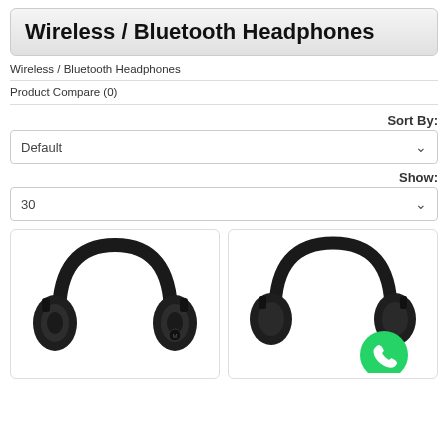Wireless / Bluetooth Headphones
Wireless / Bluetooth Headphones
Product Compare (0)
Sort By:
Default
Show:
30
[Figure (photo): Black over-ear wireless headphone, front view on white background]
[Figure (photo): Black over-ear wireless headphone with WhatsApp green circle icon overlay at bottom right]